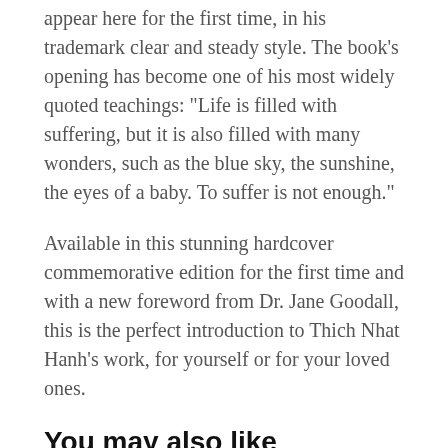appear here for the first time, in his trademark clear and steady style. The book's opening has become one of his most widely quoted teachings: "Life is filled with suffering, but it is also filled with many wonders, such as the blue sky, the sunshine, the eyes of a baby. To suffer is not enough."
Available in this stunning hardcover commemorative edition for the first time and with a new foreword from Dr. Jane Goodall, this is the perfect introduction to Thich Nhat Hanh's work, for yourself or for your loved ones.
You may also like